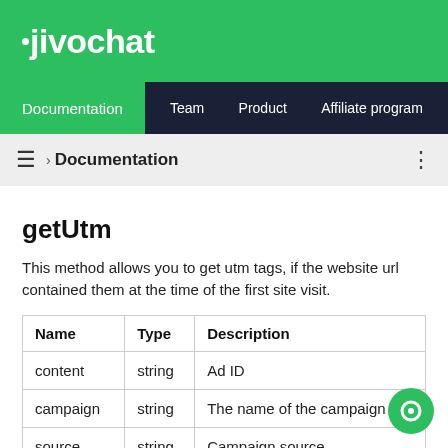jivochat
Documentation  Team  Product  Affiliate program
≡ › Documentation
getUtm
This method allows you to get utm tags, if the website url contained them at the time of the first site visit.
| Name | Type | Description |
| --- | --- | --- |
| content | string | Ad ID |
| campaign | string | The name of the campaign |
| source | string | Campaign source |
| ... | string | Traffic... |